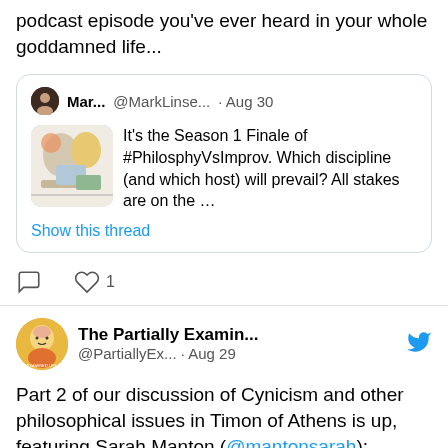podcast episode you've ever heard in your whole goddamned life...
Mar... @MarkLinse... · Aug 30
It's the Season 1 Finale of #PhilosophyVsImprov. Which discipline (and which host) will prevail? All stakes are on the ...
Show this thread
1
The Partially Examin... @PartiallyEx... · Aug 29
Part 2 of our discussion of Cynicism and other philosophical issues in Timon of Athens is up, featuring Sarah Manton (@mantonsarah): partiallyexaminedlife.com/2022/08/29/en2